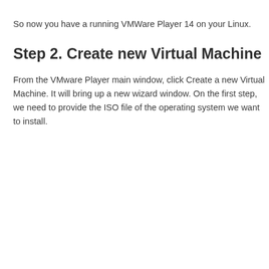So now you have a running VMWare Player 14 on your Linux.
Step 2. Create new Virtual Machine
From the VMware Player main window, click Create a new Virtual Machine. It will bring up a new wizard window. On the first step, we need to provide the ISO file of the operating system we want to install.